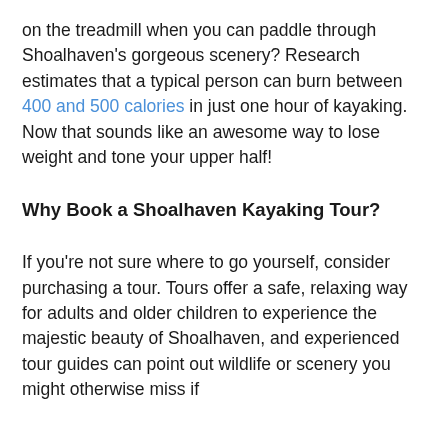on the treadmill when you can paddle through Shoalhaven's gorgeous scenery? Research estimates that a typical person can burn between 400 and 500 calories in just one hour of kayaking. Now that sounds like an awesome way to lose weight and tone your upper half!
Why Book a Shoalhaven Kayaking Tour?
If you're not sure where to go yourself, consider purchasing a tour. Tours offer a safe, relaxing way for adults and older children to experience the majestic beauty of Shoalhaven, and experienced tour guides can point out wildlife or scenery you might otherwise miss if